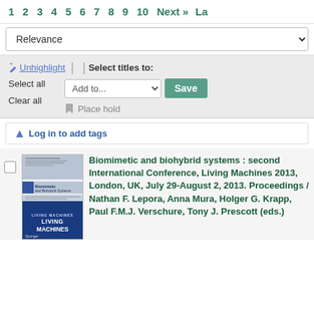1  2  3  4  5  6  7  8  9  10  Next »  La
Relevance
Unhighlight  |  | Select titles to:  Select all  Add to...  Save  Clear all  Place hold
Log in to add tags
[Figure (photo): Book cover of Biomimetic and Biohybrid Systems, Living Machines conference proceedings, Springer publisher]
Biomimetic and biohybrid systems : second International Conference, Living Machines 2013, London, UK, July 29-August 2, 2013. Proceedings / Nathan F. Lepora, Anna Mura, Holger G. Krapp, Paul F.M.J. Verschure, Tony J. Prescott (eds.)